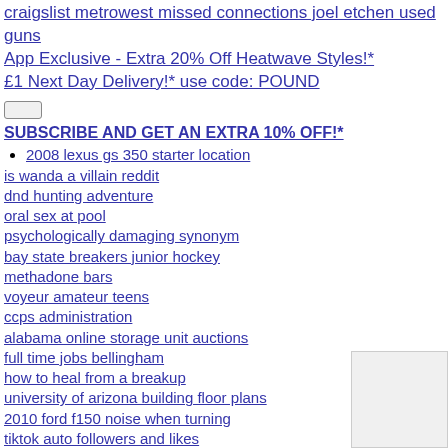craigslist metrowest missed connections joel etchen used guns
App Exclusive - Extra 20% Off Heatwave Styles!*
£1 Next Day Delivery!* use code: POUND
SUBSCRIBE AND GET AN EXTRA 10% OFF!*
2008 lexus gs 350 starter location
is wanda a villain reddit
dnd hunting adventure
oral sex at pool
psychologically damaging synonym
bay state breakers junior hockey
methadone bars
voyeur amateur teens
ccps administration
alabama online storage unit auctions
full time jobs bellingham
how to heal from a breakup
university of arizona building floor plans
2010 ford f150 noise when turning
tiktok auto followers and likes
my gospel roots gene watson
mushroom factory near me
rock island armory vrf 14 review
2007 subaru forester oil leak
havapoo rescue illinois